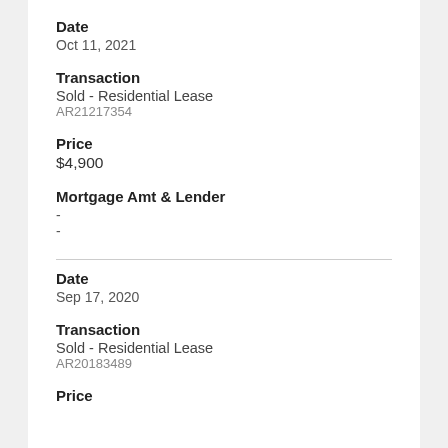Date
Oct 11, 2021
Transaction
Sold - Residential Lease
AR21217354
Price
$4,900
Mortgage Amt & Lender
-
-
Date
Sep 17, 2020
Transaction
Sold - Residential Lease
AR20183489
Price